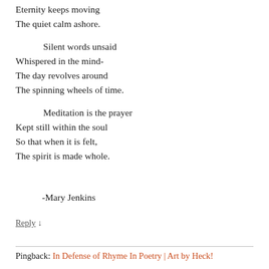Eternity keeps moving
The quiet calm ashore.

    Silent words unsaid
Whispered in the mind-
The day revolves around
The spinning wheels of time.

    Meditation is the prayer
Kept still within the soul
So that when it is felt,
The spirit is made whole.
-Mary Jenkins
Reply ↓
Pingback: In Defense of Rhyme In Poetry | Art by Heck!